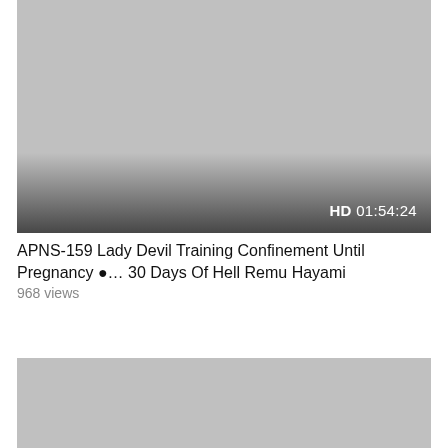[Figure (screenshot): Video thumbnail placeholder — grey rectangle with gradient overlay at bottom showing HD badge and duration 01:54:24]
APNS-159 Lady Devil Training Confinement Until Pregnancy ●… 30 Days Of Hell Remu Hayami
968 views
[Figure (screenshot): Second video thumbnail placeholder — grey rectangle, partially visible at bottom of page]